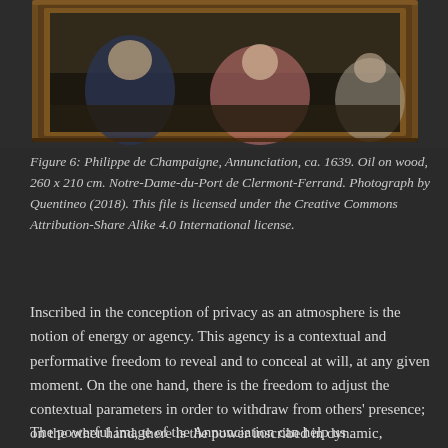[Figure (photo): Partial view of a framed oil painting by Philippe de Champaigne, showing the bottom portion of the Annunciation painting in an ornate dark wooden frame, with figures in robes visible against a dark background.]
Figure 6: Philippe de Champaigne, Annunciation, ca. 1639. Oil on wood, 260 x 210 cm. Notre-Dame-du-Port de Clermont-Ferrand. Photograph by Quentineo (2018). This file is licensed under the Creative Commons Attribution-Share Alike 4.0 International license.
Inscribed in the conception of privacy as an atmosphere is the notion of energy or agency. This agency is a contextual and performative freedom to reveal and to conceal at will, at any given moment. On the one hand, there is the freedom to adjust the contextual parameters in order to withdraw from others' presence; on the other hand, there is the power inscribed in dynamic, external agents that can affect our ability to do so.
The powerful image of the Annunciation can help us